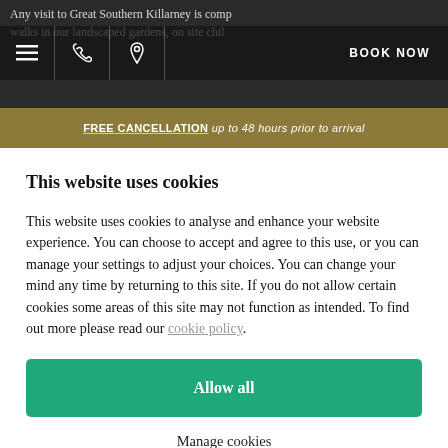Any visit to Great Southern Killarney is comp... walks in our landscaped gardens, on site chil...
FREE CANCELLATION up to 48 hours prior to arrival
This website uses cookies
This website uses cookies to analyse and enhance your website experience. You can choose to accept and agree to this use, or you can manage your settings to adjust your choices. You can change your mind any time by returning to this site. If you do not allow certain cookies some areas of this site may not function as intended. To find out more please read our cookie policy.
Allow all
Manage cookies